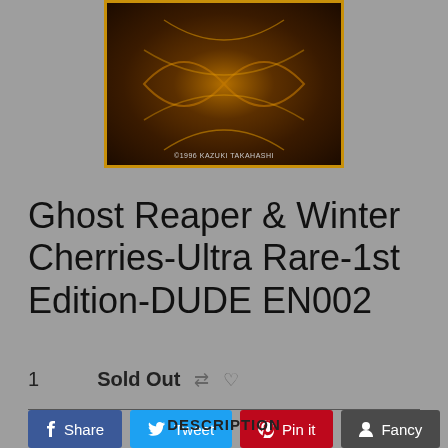[Figure (photo): Yu-Gi-Oh trading card with dark swirling gold and black design, copyright 1996 Kazuki Takahashi, gold border]
Ghost Reaper & Winter Cherries-Ultra Rare-1st Edition-DUDE EN002
1   Sold Out
Share  Tweet  Pin it  Fancy
DESCRIPTION